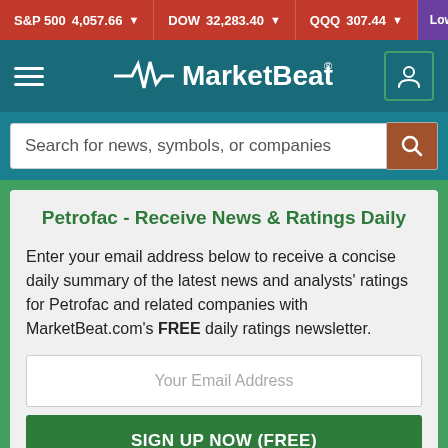S&P 500 4,057.66 ▼  DOW 32,283.40 ▼  QQQ 307.44 ▼  Low fuel inv
[Figure (logo): MarketBeat logo with heartbeat line on teal navigation bar]
Search for news, symbols, or companies
Petrofac - Receive News & Ratings Daily
Enter your email address below to receive a concise daily summary of the latest news and analysts' ratings for Petrofac and related companies with MarketBeat.com's FREE daily ratings newsletter.
Your Email Address
SIGN UP NOW (FREE)
or
Sign up with Google